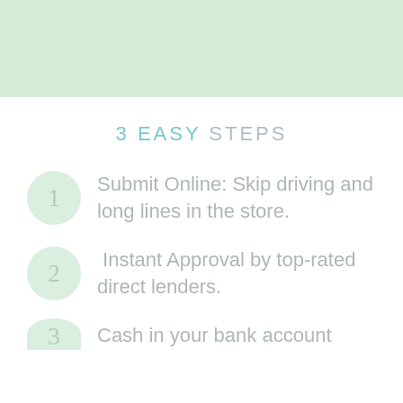[Figure (illustration): Light green decorative header bar across full page width]
3 EASY STEPS
Submit Online: Skip driving and long lines in the store.
Instant Approval by top-rated direct lenders.
Cash in your bank account